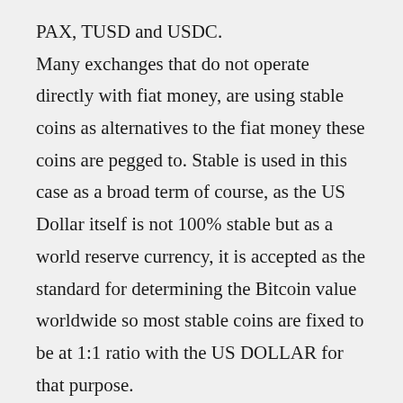PAX, TUSD and USDC. Many exchanges that do not operate directly with fiat money, are using stable coins as alternatives to the fiat money these coins are pegged to. Stable is used in this case as a broad term of course, as the US Dollar itself is not 100% stable but as a world reserve currency, it is accepted as the standard for determining the Bitcoin value worldwide so most stable coins are fixed to be at 1:1 ratio with the US DOLLAR for that purpose.
Virgin Coin is simply a term referred to a brand-new coin acquired through mining that has not yet been used in a transaction, and at their current state...